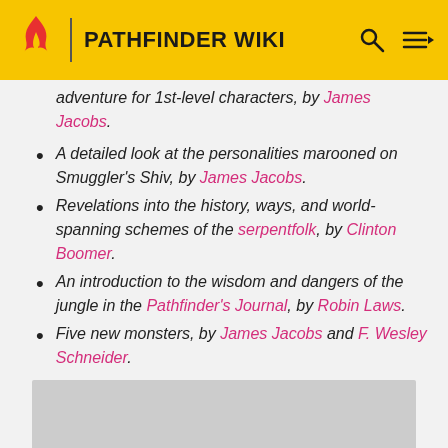PATHFINDER WIKI
adventure for 1st-level characters, by James Jacobs.
A detailed look at the personalities marooned on Smuggler's Shiv, by James Jacobs.
Revelations into the history, ways, and world-spanning schemes of the serpentfolk, by Clinton Boomer.
An introduction to the wisdom and dangers of the jungle in the Pathfinder's Journal, by Robin Laws.
Five new monsters, by James Jacobs and F. Wesley Schneider.
[Figure (photo): Gray image placeholder at bottom of page]